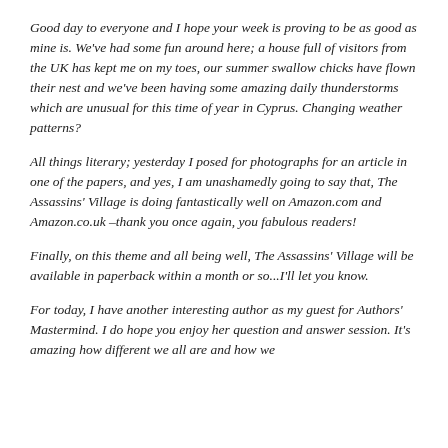Good day to everyone and I hope your week is proving to be as good as mine is. We've had some fun around here; a house full of visitors from the UK has kept me on my toes, our summer swallow chicks have flown their nest and we've been having some amazing daily thunderstorms which are unusual for this time of year in Cyprus. Changing weather patterns?
All things literary; yesterday I posed for photographs for an article in one of the papers, and yes, I am unashamedly going to say that, The Assassins' Village is doing fantastically well on Amazon.com and Amazon.co.uk –thank you once again, you fabulous readers!
Finally, on this theme and all being well, The Assassins' Village will be available in paperback within a month or so...I'll let you know.
For today, I have another interesting author as my guest for Authors' Mastermind. I do hope you enjoy her question and answer session. It's amazing how different we all are and how we